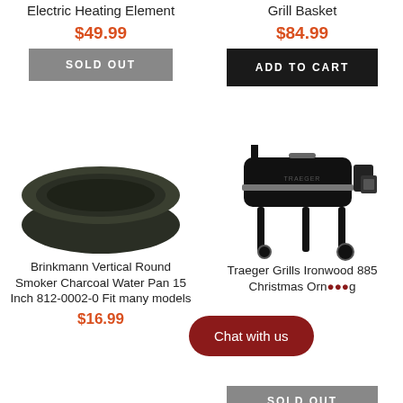Electric Heating Element
$49.99
SOLD OUT
Grill Basket
$84.99
ADD TO CART
[Figure (photo): Dark round charcoal water pan bowl]
Brinkmann Vertical Round Smoker Charcoal Water Pan 15 Inch 812-0002-0 Fit many models
$16.99
[Figure (photo): Traeger Grills Ironwood 885 pellet grill smoker in black]
Traeger Grills Ironwood 885 Christmas Ornament...
Chat with us
SOLD OUT